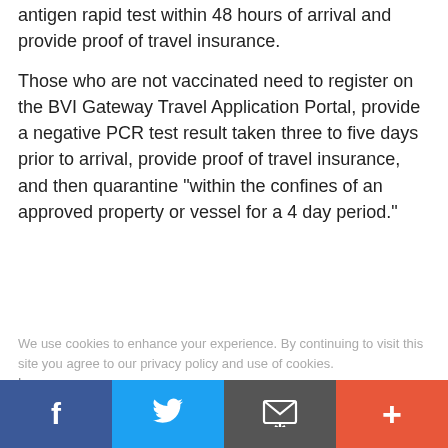antigen rapid test within 48 hours of arrival and provide proof of travel insurance.
Those who are not vaccinated need to register on the BVI Gateway Travel Application Portal, provide a negative PCR test result taken three to five days prior to arrival, provide proof of travel insurance, and then quarantine "within the confines of an approved property or vessel for a 4 day period."
We use cookies to enhance your experience. By continuing to visit this site you agree to our privacy policy and use of cookies. Learn more
With the move, the BVI joins the majority of countries currently monitored by the CDC in Level 3 including France, Germany, Ireland, Israel, The Netherlands, Portugal, Spain, the U.K., and more. Those countries have all been on the Level 3 list since the CDC moved to its